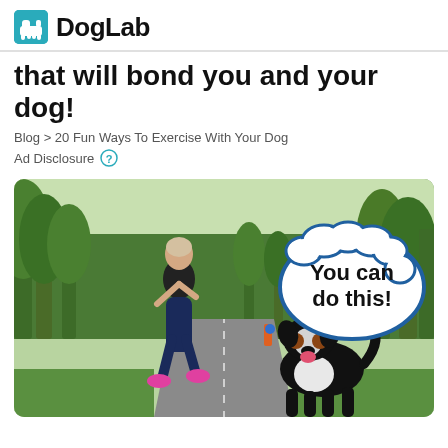DogLab
that will bond you and your dog!
Blog > 20 Fun Ways To Exercise With Your Dog
Ad Disclosure ?
[Figure (photo): Woman jogging outdoors on a path lined with green trees, with a Bernese Mountain Dog running beside her. A speech bubble overlay reads 'You can do this!']